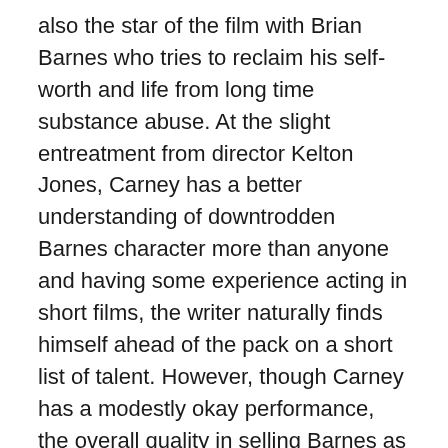also the star of the film with Brian Barnes who tries to reclaim his self-worth and life from long time substance abuse. At the slight entreatment from director Kelton Jones, Carney has a better understanding of downtrodden Barnes character more than anyone and having some experience acting in short films, the writer naturally finds himself ahead of the pack on a short list of talent. However, though Carney has a modestly okay performance, the overall quality in selling Barnes as desperate, duplicitous, and genuine misses the mark, exacting a clunky out of step disposition as the character tries to figure the mystery that enshrouds him. Jones also has a role as the deranged sheriff who stalks Barnes like an overbearing, power monger cop who smells blood in the water. In his feature debut, like Barnes, Jones' splashes a friendly, yet simultaneously devilish smirk